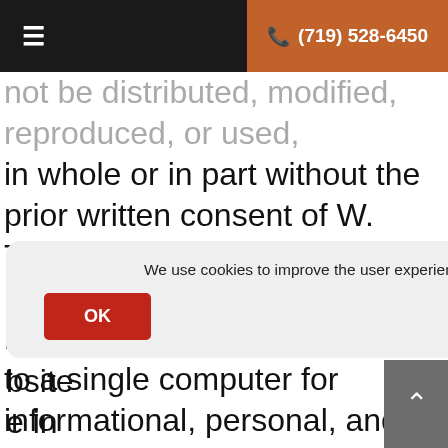≡   ✆ (719) 528-6450
not be distributed, modified, reproduced, or used, in whole or in part without the prior written consent of W. Todd Rogers Dental. Downloading or printing information from this website to a single computer for informational, personal, and non-commercial use is permitted as long as all copyright or proprietary information remains intact.
We use cookies to improve the user experience. For more information, see our Privacy Policy
OK
bsite
e in